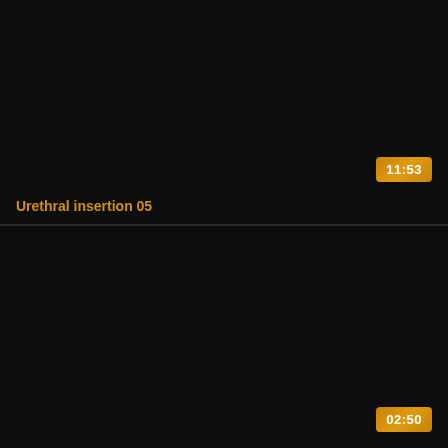[Figure (screenshot): Dark video thumbnail placeholder for 'Urethral insertion 05', black background with golden duration badge showing 11:53 in lower right, and golden title text in lower left]
Urethral insertion 05
[Figure (screenshot): Dark video thumbnail placeholder, black background with golden duration badge showing 02:50 in lower right]